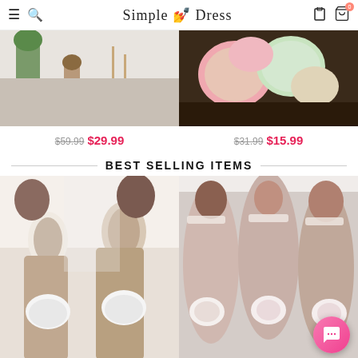Simple Dress
[Figure (photo): Top portion of a woman in a dress with greenery/floral background]
$59.99 $29.99
[Figure (photo): Close-up of pink and green succulent flowers]
$31.99 $15.99
BEST SELLING ITEMS
[Figure (photo): Two bridesmaids in taupe/champagne satin dresses holding white bouquets]
[Figure (photo): Three bridesmaids in blush/pink lace long-sleeve dresses holding pink bouquets]